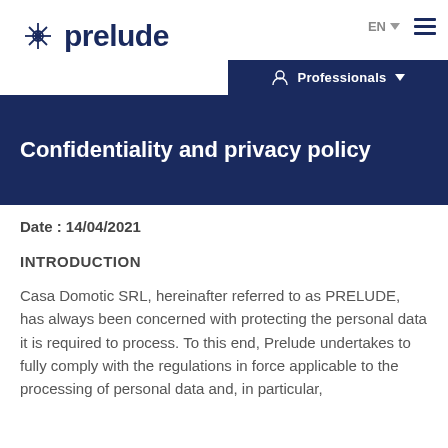prelude — EN — Professionals
Confidentiality and privacy policy
Date : 14/04/2021
INTRODUCTION
Casa Domotic SRL, hereinafter referred to as PRELUDE, has always been concerned with protecting the personal data it is required to process. To this end, Prelude undertakes to fully comply with the regulations in force applicable to the processing of personal data and, in particular,